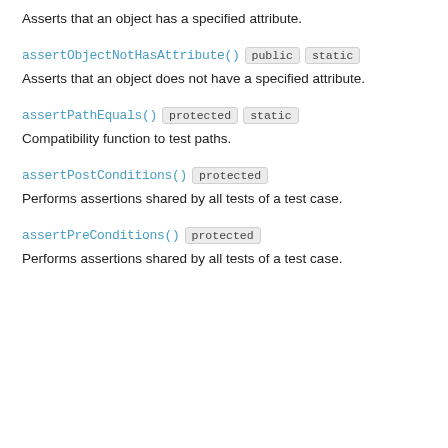Asserts that an object has a specified attribute.
assertObjectNotHasAttribute()  public  static
Asserts that an object does not have a specified attribute.
assertPathEquals()  protected  static
Compatibility function to test paths.
assertPostConditions()  protected
Performs assertions shared by all tests of a test case.
assertPreConditions()  protected
Performs assertions shared by all tests of a test case.